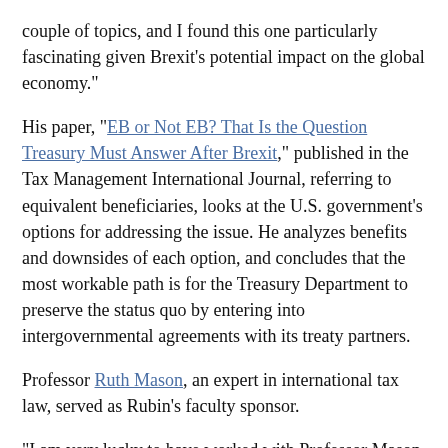couple of topics, and I found this one particularly fascinating given Brexit’s potential impact on the global economy.”
His paper, “EB or Not EB? That Is the Question Treasury Must Answer After Brexit,” published in the Tax Management International Journal, referring to equivalent beneficiaries, looks at the U.S. government’s options for addressing the issue. He analyzes benefits and downsides of each option, and concludes that the most workable path is for the Treasury Department to preserve the status quo by entering into intergovernmental agreements with its treaty partners.
Professor Ruth Mason, an expert in international tax law, served as Rubin’s faculty sponsor.
“I am very lucky to have worked with Professor Mason and others on this project during my time at UVA Law,” Rubin said. “Professor Mason provided guidance while I initially mapped out my arguments, and our conversations throughout the entire process oriented me in the right direction when my research began